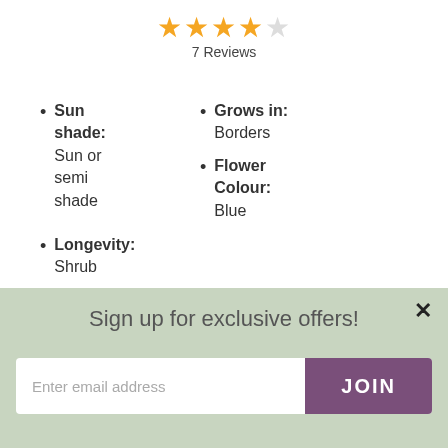[Figure (other): 4.5 out of 5 stars rating with text '7 Reviews' below]
Sun shade: Sun or semi shade
Grows in: Borders
Flower Colour: Blue
Longevity: Shrub
[Figure (photo): A hand holding blue/purple lavender flowers with green bokeh background and orange pot visible]
Sign up for exclusive offers!
Enter email address
JOIN